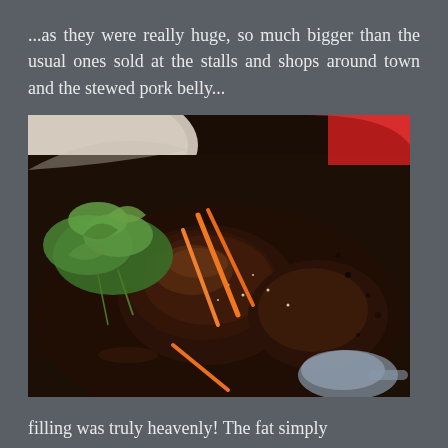...as they were really huge, so much bigger than the usual ones sold at the stalls and shops around town and the stewed pork belly...
[Figure (photo): A close-up photo of stewed pork belly in dark sauce, garnished with green herbs and orange carrot strips, served in a bowl with a spoon visible]
filling was truly heavenly! The fat simply